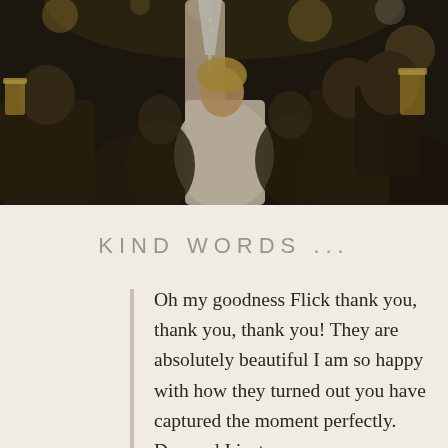[Figure (photo): Crowd of people at a celebration or wedding reception raising glasses in a toast. A woman's arm is prominently raised holding a champagne flute. Dark, atmospheric indoor setting with bokeh lights in background.]
KIND WORDS ...
Oh my goodness Flick thank you, thank you, thank you! They are absolutely beautiful I am so happy with how they turned out you have captured the moment perfectly. Dan and I just